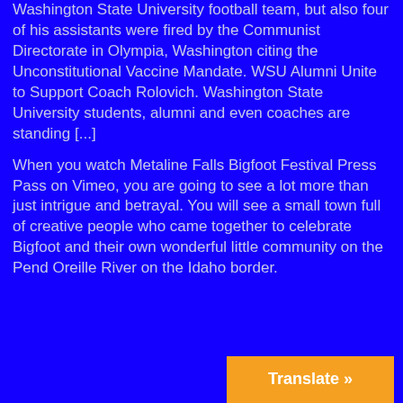Washington State University football team, but also four of his assistants were fired by the Communist Directorate in Olympia, Washington citing the Unconstitutional Vaccine Mandate. WSU Alumni Unite to Support Coach Rolovich. Washington State University students, alumni and even coaches are standing [...]
When you watch Metaline Falls Bigfoot Festival Press Pass on Vimeo, you are going to see a lot more than just intrigue and betrayal. You will see a small town full of creative people who came together to celebrate Bigfoot and their own wonderful little community on the Pend Oreille River on the Idaho border.
Translate »